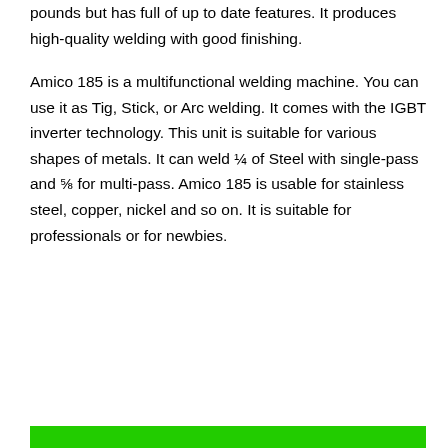pounds but has full of up to date features. It produces high-quality welding with good finishing.
Amico 185 is a multifunctional welding machine. You can use it as Tig, Stick, or Arc welding. It comes with the IGBT inverter technology. This unit is suitable for various shapes of metals. It can weld ¼ of Steel with single-pass and ⅝ for multi-pass. Amico 185 is usable for stainless steel, copper, nickel and so on. It is suitable for professionals or for newbies.
[Figure (other): Green horizontal bar at the bottom of the page]